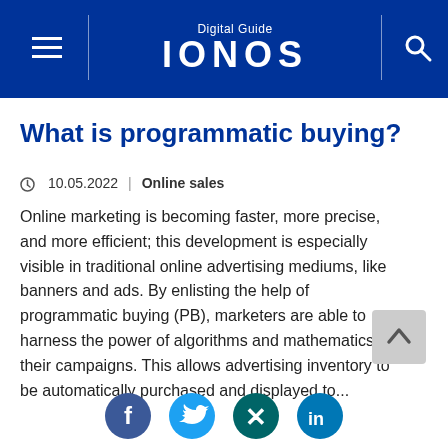Digital Guide IONOS
What is programmatic buying?
10.05.2022  |  Online sales
Online marketing is becoming faster, more precise, and more efficient; this development is especially visible in traditional online advertising mediums, like banners and ads. By enlisting the help of programmatic buying (PB), marketers are able to harness the power of algorithms and mathematics for their campaigns. This allows advertising inventory to be automatically purchased and displayed to...
[Figure (infographic): Social media sharing icons: Facebook (blue circle with F), Twitter (light blue circle with bird), Xing (dark teal circle with X), LinkedIn (blue circle with in)]